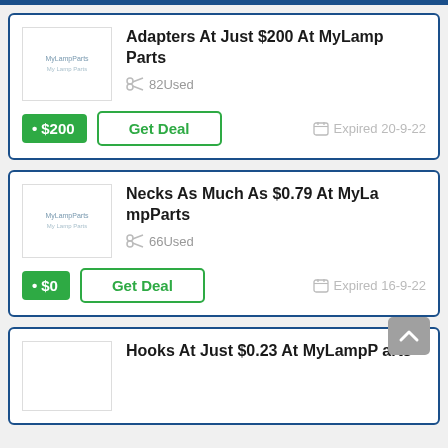[Figure (other): Top blue bar strip]
Adapters At Just $200 At MyLamp Parts
82Used
$200
Get Deal
Expired 20-9-22
Necks As Much As $0.79 At MyLampParts
66Used
$0
Get Deal
Expired 16-9-22
Hooks At Just $0.23 At MyLampParts